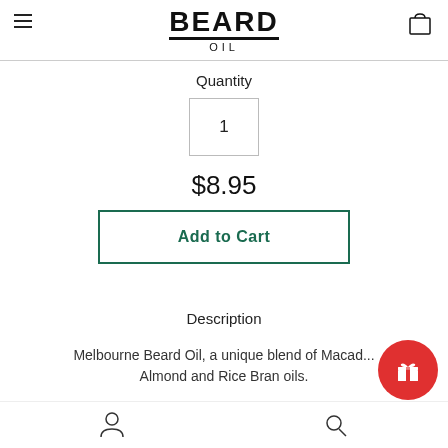[Figure (logo): BEARD OIL logo in bold uppercase letters with underline, and OIL in smaller spaced text below]
Quantity
1
$8.95
Add to Cart
Description
Melbourne Beard Oil, a unique blend of Macad... Almond and Rice Bran oils.